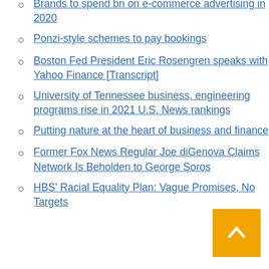Brands to spend bn on e-commerce advertising in 2020
Ponzi-style schemes to pay bookings
Boston Fed President Eric Rosengren speaks with Yahoo Finance [Transcript]
University of Tennessee business, engineering programs rise in 2021 U.S. News rankings
Putting nature at the heart of business and finance
Former Fox News Regular Joe diGenova Claims Network Is Beholden to George Soros
HBS' Racial Equality Plan: Vague Promises, No Targets